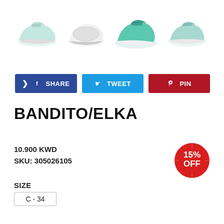[Figure (photo): Four views of a mint-green slip-on sneaker: side view, sole view, front-angle view, and another side view]
[Figure (infographic): Social sharing buttons: SHARE (Facebook, dark blue), TWEET (Twitter, light blue), PIN (Pinterest, dark red)]
BANDITO/ELKA
10.900 KWD
SKU: 305026105
[Figure (infographic): Red circular badge showing 15% OFF discount]
SIZE
C - 34